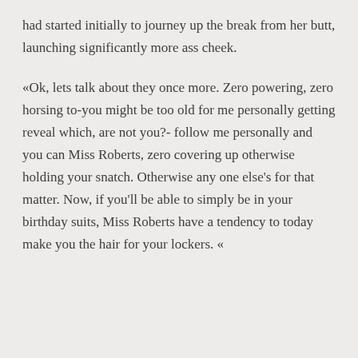had started initially to journey up the break from her butt, launching significantly more ass cheek.
«Ok, lets talk about they once more. Zero powering, zero horsing to-you might be too old for me personally getting reveal which, are not you?- follow me personally and you can Miss Roberts, zero covering up otherwise holding your snatch. Otherwise any one else's for that matter. Now, if you'll be able to simply be in your birthday suits, Miss Roberts have a tendency to today make you the hair for your lockers. «